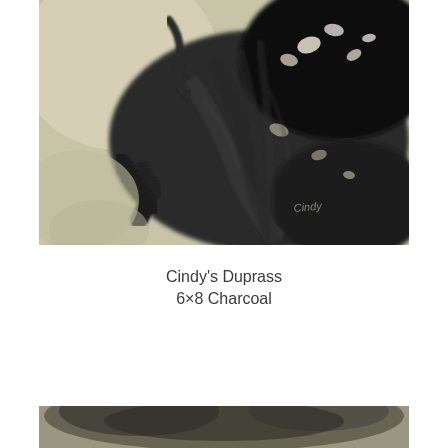[Figure (illustration): A charcoal drawing of what appears to be a bird or animal, rendered in dark charcoal tones with white highlights scattered throughout. The piece is signed in the lower right area. The image has a light beige/cream border and dark interior with expressive, loose charcoal strokes.]
Cindy's Duprass
6×8 Charcoal
[Figure (illustration): Bottom portion of another charcoal artwork, partially visible at the bottom edge of the page.]